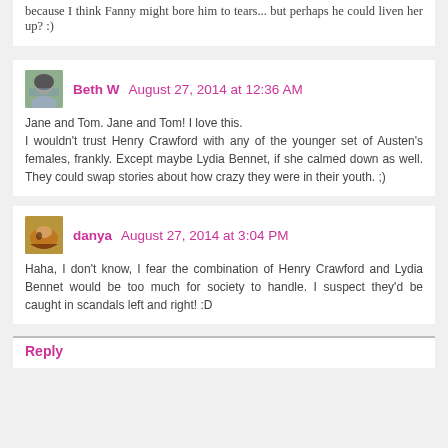because I think Fanny might bore him to tears... but perhaps he could liven her up? :)
Beth W  August 27, 2014 at 12:36 AM
Jane and Tom. Jane and Tom! I love this.
I wouldn't trust Henry Crawford with any of the younger set of Austen's females, frankly. Except maybe Lydia Bennet, if she calmed down as well. They could swap stories about how crazy they were in their youth. ;)
danya  August 27, 2014 at 3:04 PM
Haha, I don't know, I fear the combination of Henry Crawford and Lydia Bennet would be too much for society to handle. I suspect they'd be caught in scandals left and right! :D
Reply